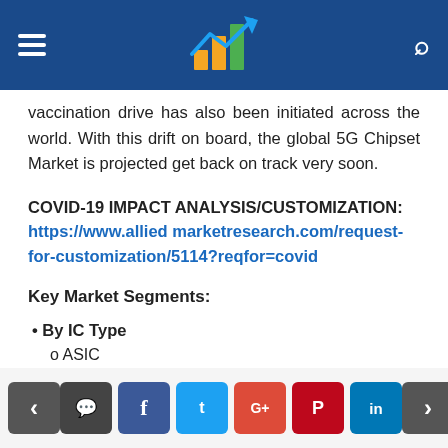[Header bar with menu icon, logo, and search icon]
vaccination drive has been initiated across the world. With this drift on board, the global 5G Chipset Market is projected get back on track very soon.
COVID-19 IMPACT ANALYSIS/CUSTOMIZATION: https://www.alliedmarketresearch.com/request-for-customization/5114?reqfor=covid
Key Market Segments:
• By IC Type
o ASIC
o RFIC
o Cellular IC
< [comment] [f] [twitter] [G+] [pinterest] [in] >